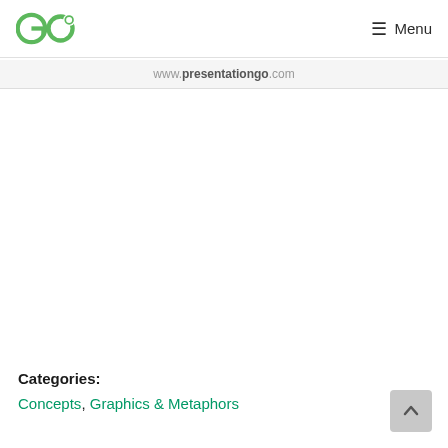GO Menu
www.presentationgo.com
Categories:
Concepts, Graphics & Metaphors